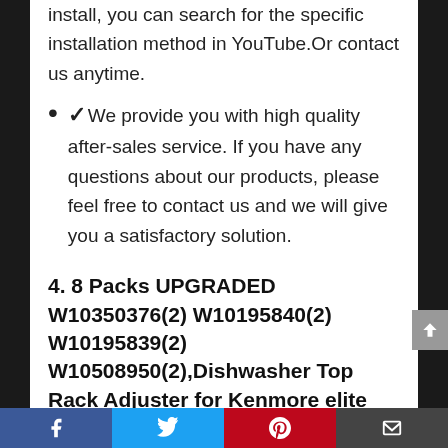install, you can search for the specific installation method in YouTube.Or contact us anytime.
✓We provide you with high quality after-sales service. If you have any questions about our products, please feel free to contact us and we will give you a satisfactory solution.
4. 8 Packs UPGRADED W10350376(2) W10195840(2) W10195839(2) W10508950(2),Dishwasher Top Rack Adjuster for Kenmore elite